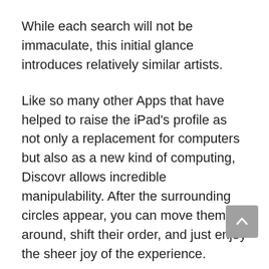While each search will not be immaculate, this initial glance introduces relatively similar artists.
Like so many other Apps that have helped to raise the iPad's profile as not only a replacement for computers but also as a new kind of computing, Discovr allows incredible manipulability. After the surrounding circles appear, you can move them around, shift their order, and just enjoy the sheer joy of the experience.
If you double-tap on one of the circles, you